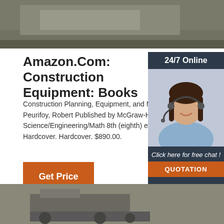[Figure (photo): Top banner image showing construction/industrial scene with grey-brown tones]
Amazon.Com: Construction Equipment: Books
Construction Planning, Equipment, and Metho Peurifoy, Robert Published by McGraw-Hill Science/Engineering/Math 8th (eighth) edition Hardcover. Hardcover. $890.00.
[Figure (infographic): Sidebar widget with '24/7 Online' header, photo of a smiling woman with headset, 'Click here for free chat!' text, and 'QUOTATION' button]
Get Price
[Figure (photo): Bottom image showing construction equipment/machinery]